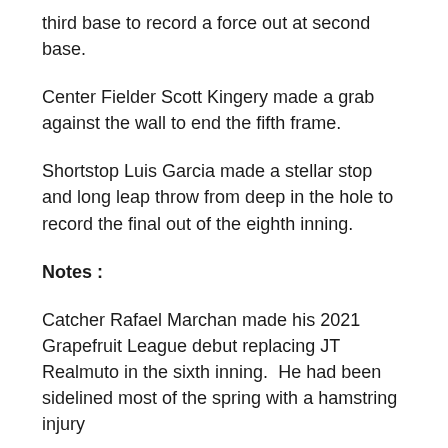third base to record a force out at second base.
Center Fielder Scott Kingery made a grab against the wall to end the fifth frame.
Shortstop Luis Garcia made a stellar stop and long leap throw from deep in the hole to record the final out of the eighth inning.
Notes :
Catcher Rafael Marchan made his 2021 Grapefruit League debut replacing JT Realmuto in the sixth inning.  He had been sidelined most of the spring with a hamstring injury